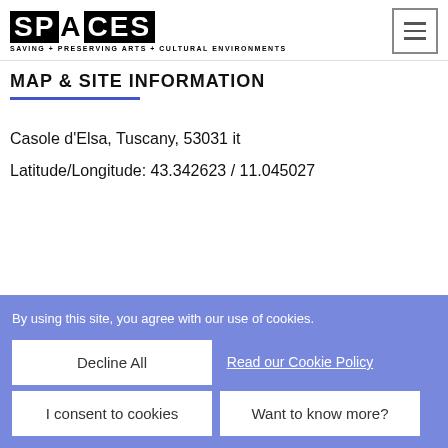[Figure (logo): SPACES logo — stylized bold text with 'SAVING + PRESERVING ARTS + CULTURAL ENVIRONMENTS' subtitle]
MAP & SITE INFORMATION
Casole d'Elsa, Tuscany, 53031 it
Latitude/Longitude: 43.342623 / 11.045027
By using this site, you agree with our use of cookies.
Decline All
Read our Cookie Policy
I consent to cookies
Want to know more?